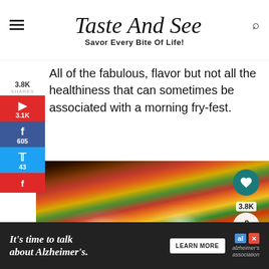Taste And See — Savor Every Bite Of Life!
All of the fabulous, flavor but not all the healthiness that can sometimes be associated with a morning fry-fest.
[Figure (photo): A cast iron skillet with shakshuka — eggs poached in a colorful tomato and pepper sauce, garnished with green herbs]
WHAT'S NEXT → Chicken Skillet with...
[Figure (infographic): Advertisement banner: It's time to talk about Alzheimer's. Learn More. Alzheimer's Association logo.]